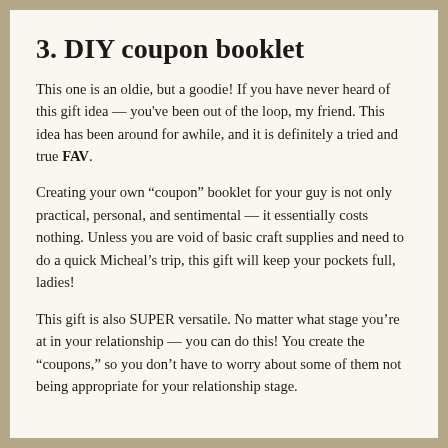3. DIY coupon booklet
This one is an oldie, but a goodie! If you have never heard of this gift idea — you've been out of the loop, my friend. This idea has been around for awhile, and it is definitely a tried and true FAV.
Creating your own “coupon” booklet for your guy is not only practical, personal, and sentimental — it essentially costs nothing. Unless you are void of basic craft supplies and need to do a quick Micheal’s trip, this gift will keep your pockets full, ladies!
This gift is also SUPER versatile. No matter what stage you’re at in your relationship — you can do this! You create the “coupons,” so you don’t have to worry about some of them not being appropriate for your relationship stage.